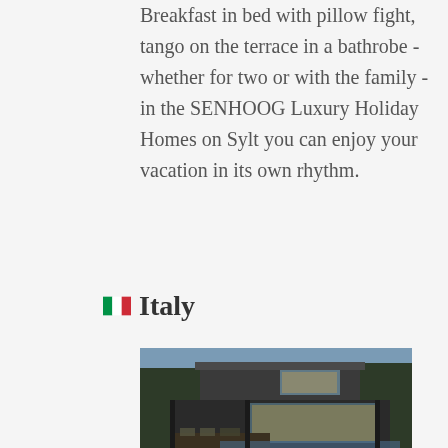Breakfast in bed with pillow fight, tango on the terrace in a bathrobe - whether for two or with the family - in the SENHOOG Luxury Holiday Homes on Sylt you can enjoy your vacation in its own rhythm.
🇮🇹 Italy
[Figure (photo): Modern luxury house exterior photographed at dusk, showing a two-story contemporary home with flat roof, large glass windows, warm interior lighting, outdoor terrace with furniture, and trees in background.]